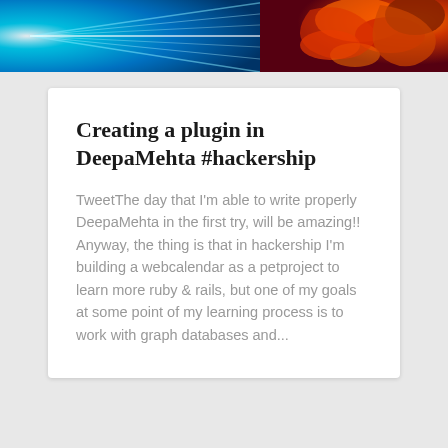[Figure (illustration): Abstract colorful header banner with blue rays on the left side and orange/red fractal swirls on the right side]
Creating a plugin in DeepaMehta #hackership
TweetThe day that I'm able to write properly DeepaMehta in the first try, will be amazing!! Anyway, the thing is that in hackership I'm building a webcalendar as a petproject to learn more ruby & rails, but one of my goals at some point of my learning process is to work with graph databases and...